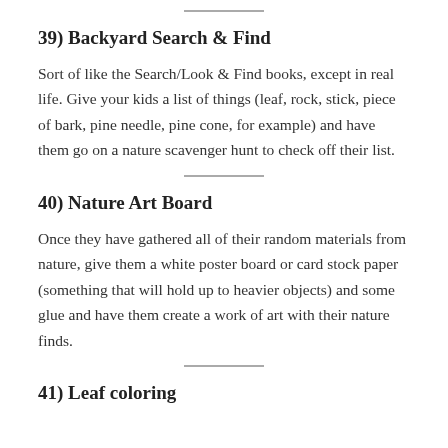39) Backyard Search & Find
Sort of like the Search/Look & Find books, except in real life. Give your kids a list of things (leaf, rock, stick, piece of bark, pine needle, pine cone, for example) and have them go on a nature scavenger hunt to check off their list.
40) Nature Art Board
Once they have gathered all of their random materials from nature, give them a white poster board or card stock paper (something that will hold up to heavier objects) and some glue and have them create a work of art with their nature finds.
41) Leaf coloring